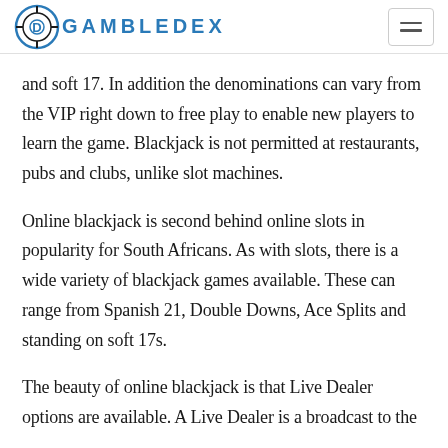GAMBLEDEX
and soft 17. In addition the denominations can vary from the VIP right down to free play to enable new players to learn the game. Blackjack is not permitted at restaurants, pubs and clubs, unlike slot machines.
Online blackjack is second behind online slots in popularity for South Africans. As with slots, there is a wide variety of blackjack games available. These can range from Spanish 21, Double Downs, Ace Splits and standing on soft 17s.
The beauty of online blackjack is that Live Dealer options are available. A Live Dealer is a broadcast to the